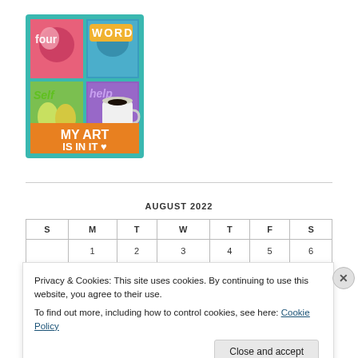[Figure (illustration): Book cover illustration for 'Four Word Self Help – My Art Is In It'. A colorful 2x2 grid of painted panels showing fruits, flowers, a coffee cup, and painterly textures. Text reads 'four', 'WORD', 'Self', 'help' in the panels. Bottom banner in orange reads 'MY ART IS IN IT' with a heart symbol. Teal border around entire cover.]
AUGUST 2022
| S | M | T | W | T | F | S |
| --- | --- | --- | --- | --- | --- | --- |
| 1 | 2 | 3 | 4 | 5 | 6 |
Privacy & Cookies: This site uses cookies. By continuing to use this website, you agree to their use.
To find out more, including how to control cookies, see here: Cookie Policy
Close and accept